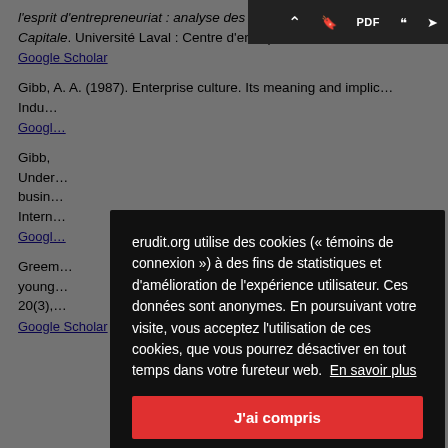l'esprit d'entrepreneuriat : analyse des c... : commission scolaire de La Capitale. Université Laval : Centre d'entrepreneuriat et de PME.
Google Scholar
Gibb, A. A. (1987). Enterprise culture. Its meaning and implic... Indu...
Google Scholar
Gibb, ... Under... busin... Intern...
Google Scholar
Green... young... 20(3),...
Google Scholar   10.1177020024200220505...
[Figure (screenshot): Cookie consent modal overlay on erudit.org. Dark semi-transparent backdrop with black modal box. Text: 'erudit.org utilise des cookies (« témoins de connexion ») à des fins de statistiques et d'amélioration de l'expérience utilisateur. Ces données sont anonymes. En poursuivant votre visite, vous acceptez l'utilisation de ces cookies, que vous pourrez désactiver en tout temps dans votre fureteur web. En savoir plus'. Red button: 'J'ai compris'.]